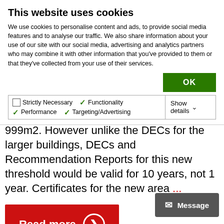This website uses cookies
We use cookies to personalise content and ads, to provide social media features and to analyse our traffic. We also share information about your use of our site with our social media, advertising and analytics partners who may combine it with other information that you've provided to them or that they've collected from your use of their services.
OK
| ☑ Strictly Necessary | ✓ Functionality | ✓ Performance | Show details ∨ |
| ✓ Targeting/Advertising |  |  |  |
999m2. However unlike the DECs for the larger buildings, DECs and Recommendation Reports for this new threshold would be valid for 10 years, not 1 year. Certificates for the new area ...
Read more ❯
✉ Message